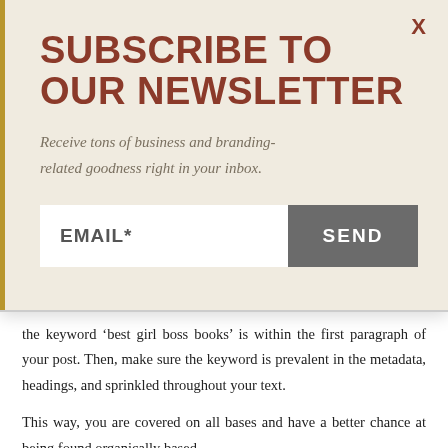SUBSCRIBE TO OUR NEWSLETTER
Receive tons of business and branding-related goodness right in your inbox.
EMAIL*
SEND
the keyword ‘best girl boss books’ is within the first paragraph of your post. Then, make sure the keyword is prevalent in the metadata, headings, and sprinkled throughout your text.
This way, you are covered on all bases and have a better chance at being found organically based